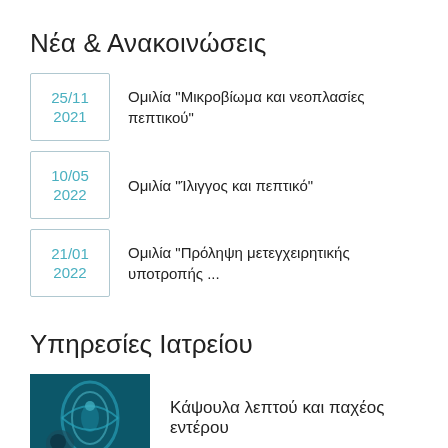Νέα & Ανακοινώσεις
25/11 2021 — Ομιλία "Μικροβίωμα και νεοπλασίες πεπτικού"
10/05 2022 — Ομιλία "Ίλιγγος και πεπτικό"
21/01 2022 — Ομιλία "Πρόληψη μετεγχειρητικής υποτροπής ..."
Υπηρεσίες Ιατρείου
[Figure (photo): Medical capsule endoscopy image with teal/blue hues showing intestinal capsule]
Κάψουλα λεπτού και παχέος εντέρου